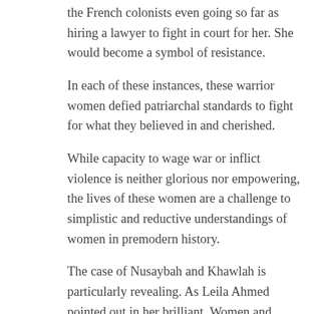the French colonists even going so far as hiring a lawyer to fight in court for her. She would become a symbol of resistance.
In each of these instances, these warrior women defied patriarchal standards to fight for what they believed in and cherished.
While capacity to wage war or inflict violence is neither glorious nor empowering, the lives of these women are a challenge to simplistic and reductive understandings of women in premodern history.
The case of Nusaybah and Khawlah is particularly revealing. As Leila Ahmed pointed out in her brilliant, Women and Gender in Islam, the lives of such women provide evidence that women participated in all aspects of public life during the time of Muhammad.
Yet later developments would rupture from this earlier experience as we see women warriors struggle